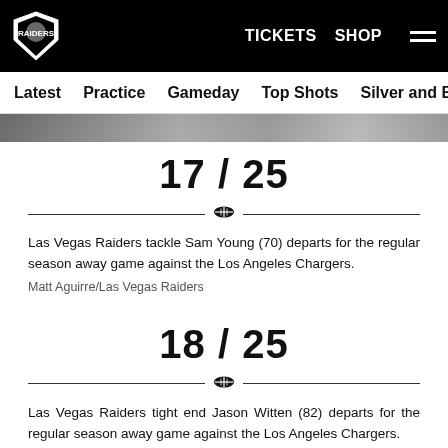Las Vegas Raiders — TICKETS  SHOP  [menu]
Latest  Practice  Gameday  Top Shots  Silver and Black and Wh…
[Figure (photo): Partial photo strip of players/crowd at top of slideshow]
17 / 25
Las Vegas Raiders tackle Sam Young (70) departs for the regular season away game against the Los Angeles Chargers.
Matt Aguirre/Las Vegas Raiders
18 / 25
Las Vegas Raiders tight end Jason Witten (82) departs for the regular season away game against the Los Angeles Chargers.
Matt Aguirre/Las Vegas Raiders